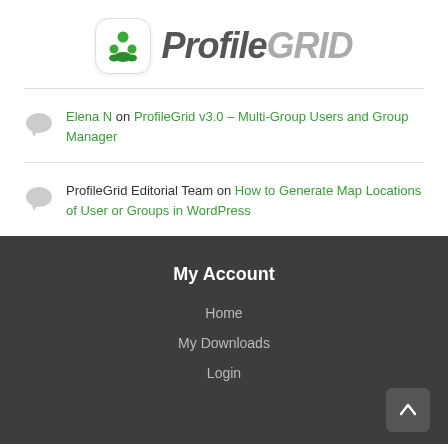[Figure (logo): ProfileGrid logo with green icon and stylized text]
Elena N on ProfileGrid v3.0 – Multi-Group Users and Group Manager
ProfileGrid Editorial Team on How to Generate Map Locations of User or Groups in WordPress
My Account
Home
My Downloads
Login